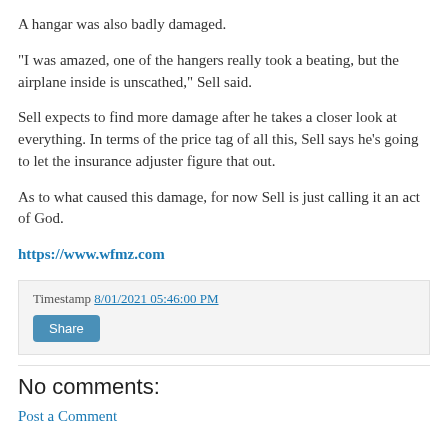A hangar was also badly damaged.
"I was amazed, one of the hangers really took a beating, but the airplane inside is unscathed," Sell said.
Sell expects to find more damage after he takes a closer look at everything. In terms of the price tag of all this, Sell says he's going to let the insurance adjuster figure that out.
As to what caused this damage, for now Sell is just calling it an act of God.
https://www.wfmz.com
Timestamp 8/01/2021 05:46:00 PM
Share
No comments:
Post a Comment